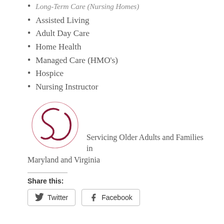Long-Term Care (Nursing Homes)
Assisted Living
Adult Day Care
Home Health
Managed Care (HMO's)
Hospice
Nursing Instructor
[Figure (logo): Circular logo with stylized 'SC' letters in dark red/maroon, with a thin circle border in pink/red.]
Servicing Older Adults and Families in Maryland and Virginia
Share this:
Twitter  Facebook